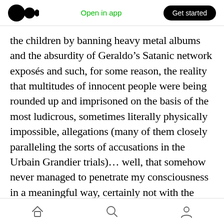Open in app | Get started
the children by banning heavy metal albums and the absurdity of Geraldo’s Satanic network exposés and such, for some reason, the reality that multitudes of innocent people were being rounded up and imprisoned on the basis of the most ludicrous, sometimes literally physically impossible, allegations (many of them closely paralleling the sorts of accusations in the Urbain Grandier trials)… well, that somehow never managed to penetrate my consciousness in a meaningful way, certainly not with the horror that it does now. (nb. Some of these “Satanists”
home | search | profile